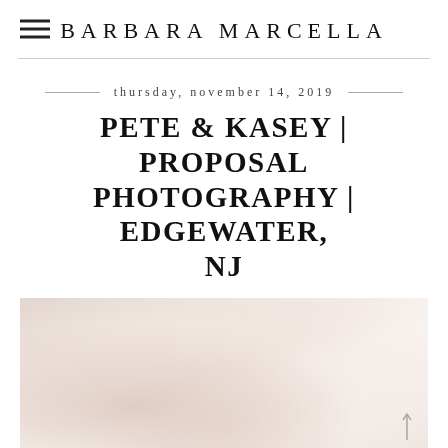BARBARA MARCELLA
thursday, november 14, 2019
PETE & KASEY | PROPOSAL PHOTOGRAPHY | EDGEWATER, NJ
[Figure (photo): Outdoor proposal photography scene with soft pinkish-beige tones, blurred background suggesting a natural setting]